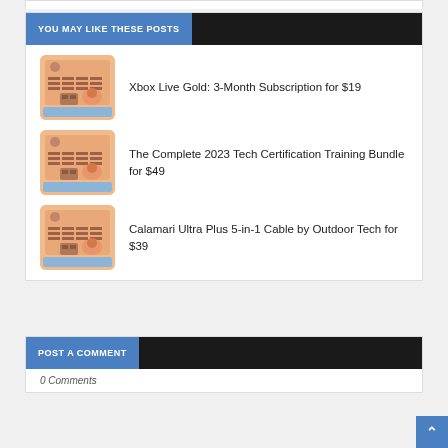YOU MAY LIKE THESE POSTS
Xbox Live Gold: 3-Month Subscription for $19
The Complete 2023 Tech Certification Training Bundle for $49
Calamari Ultra Plus 5-in-1 Cable by Outdoor Tech for $39
POST A COMMENT
0 Comments